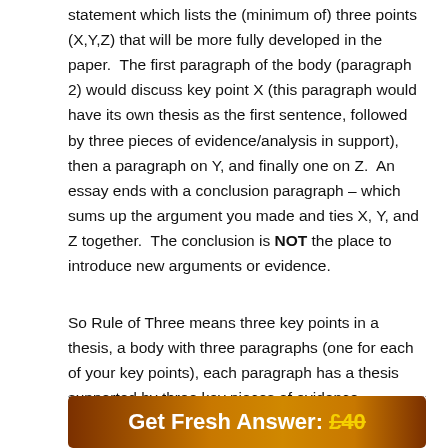statement which lists the (minimum of) three points (X,Y,Z) that will be more fully developed in the paper.  The first paragraph of the body (paragraph 2) would discuss key point X (this paragraph would have its own thesis as the first sentence, followed by three pieces of evidence/analysis in support), then a paragraph on Y, and finally one on Z.  An essay ends with a conclusion paragraph – which sums up the argument you made and ties X, Y, and Z together.  The conclusion is NOT the place to introduce new arguments or evidence.
So Rule of Three means three key points in a thesis, a body with three paragraphs (one for each of your key points), each paragraph has a thesis supported by three key pieces of evidence. Followed by a conclusion.
Get Fresh Answer: £40
100% Plagiarism Free & Custom Written,
Tailored to your instructions